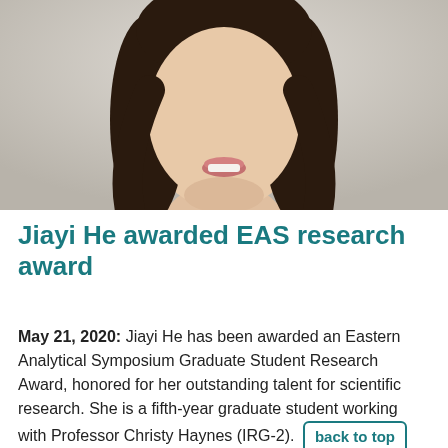[Figure (photo): Headshot photo of Jiayi He, a young woman with long dark hair, smiling, wearing a cream/white top, photographed against a light background]
Jiayi He awarded EAS research award
May 21, 2020: Jiayi He has been awarded an Eastern Analytical Symposium Graduate Student Research Award, honored for her outstanding talent for scientific research. She is a fifth-year graduate student working with Professor Christy Haynes (IRG-2). involves developing a polymer-modified electrolyte-